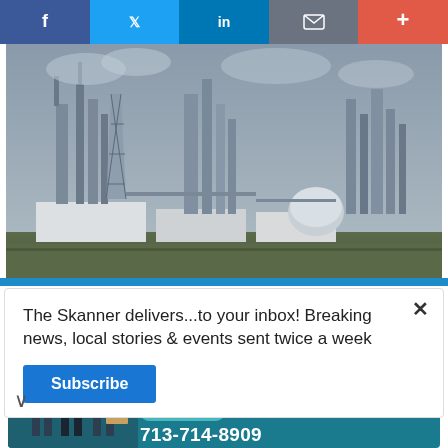[Figure (screenshot): Social media sharing bar with icons for Facebook, Twitter, LinkedIn, Email, and a plus button]
[Figure (photo): Industrial refinery or chemical plant with large towers and equipment under an overcast sky]
The Skanner delivers...to your inbox! Breaking news, local stories & events sent twice a week
Subscribe
[Figure (infographic): Advertisement for Constant Staffing: ESTAMOS CONTRATANDO BILINGUES. Lists jobs: Trabajos en General, Trabajadores de Bodega, Empacadores, Conductores de Montacargas, Ventas al Por Menor, Personal Administrativo. Phone: 713-714-8909]